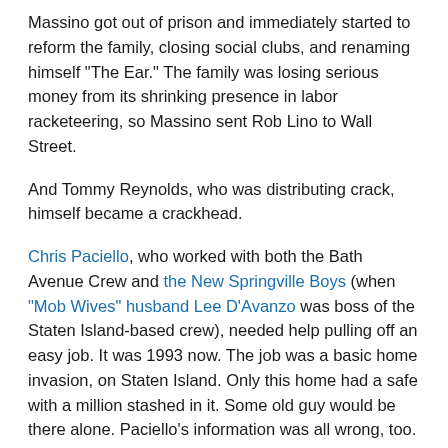Massino got out of prison and immediately started to reform the family, closing social clubs, and renaming himself "The Ear." The family was losing serious money from its shrinking presence in labor racketeering, so Massino sent Rob Lino to Wall Street.
And Tommy Reynolds, who was distributing crack, himself became a crackhead.
Chris Paciello, who worked with both the Bath Avenue Crew and the New Springville Boys (when "Mob Wives" husband Lee D'Avanzo was boss of the Staten Island-based crew), needed help pulling off an easy job. It was 1993 now. The job was a basic home invasion, on Staten Island. Only this home had a safe with a million stashed in it. Some old guy would be there alone. Paciello's information was all wrong, too.
Calandra brought Reynolds, the crackhead, with them. Because Reynolds was the guy Calandra brought with him to